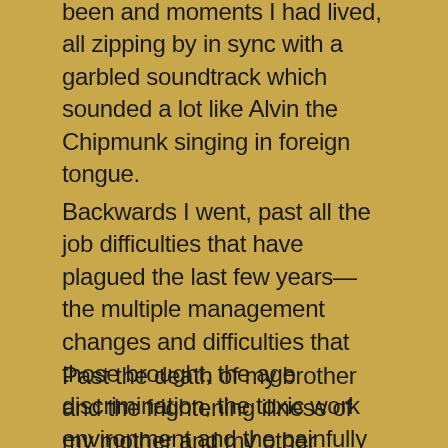been and moments I had lived, all zipping by in sync with a garbled soundtrack which sounded a lot like Alvin the Chipmunk singing in foreign tongue.
Backwards I went, past all the job difficulties that have plagued the last few years—the multiple management changes and difficulties that those brought, the age discrimination, the toxic work environment and the painfully obvious ploys used to seal my fate as the last of the "old crew" to finally be swept out.
Past the death of my brother and the frightening illness of my mother and my other brother; past my own health scares and an extended illness that literally took my breath away; past what I now know was